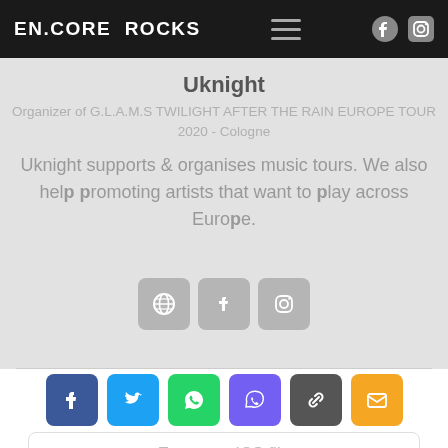EN.CORE ROCKS
Uknight
Organizer of G.L.A.M.S TWILIGHT AFTER THE RAIN EUROPE TOUR 2020 - Cologne
Uknight supports & organises music tours. We also help promoting artists that want to play across Europe.
[Figure (infographic): Three social icon buttons (globe, facebook, instagram) with grey rounded square backgrounds]
[Figure (infographic): Six share buttons in colored rounded squares: Facebook (dark blue), Twitter (light blue), WhatsApp (green), Viber (purple), Link (dark grey), Email (orange)]
Export to .ICS file